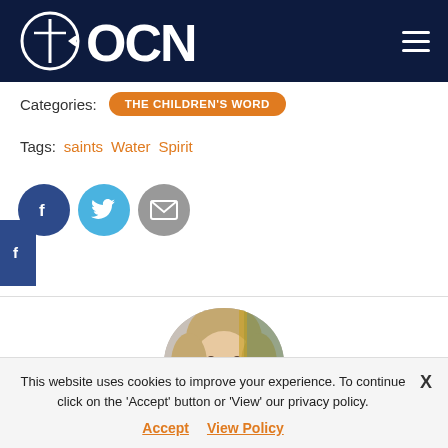[Figure (logo): OCN website header with dark navy background, OCN logo on left and hamburger menu on right]
Categories:  THE CHILDREN'S WORD
Tags:  saints  Water  Spirit
[Figure (infographic): Social sharing icons: Facebook (dark blue circle), Twitter (light blue circle), Email (gray circle), and a Facebook sidebar tab on the left edge]
[Figure (photo): Circular author photo showing a woman with light brown hair, partially cropped]
This website uses cookies to improve your experience. To continue click on the 'Accept' button or 'View' our privacy policy.  Accept  View Policy